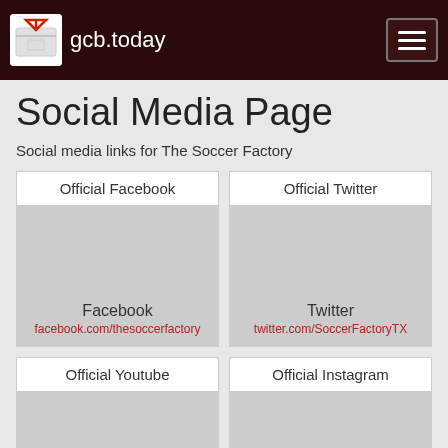gcb.today
Social Media Page
Social media links for The Soccer Factory
| Official Facebook | Official Twitter |
| --- | --- |
| Facebook
facebook.com/thesoccerfactory | Twitter
twitter.com/SoccerFactoryTX |
| Official Youtube | Official Instagram |
| --- | --- |
| Youtube | Instagram |